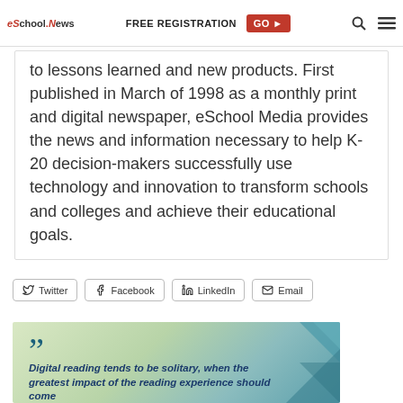eSchool News | FREE REGISTRATION GO
to lessons learned and new products. First published in March of 1998 as a monthly print and digital newspaper, eSchool Media provides the news and information necessary to help K-20 decision-makers successfully use technology and innovation to transform schools and colleges and achieve their educational goals.
Twitter
Facebook
LinkedIn
Email
[Figure (infographic): Quote banner with decorative teal/green geometric triangle background. Large opening quotation mark in dark blue. Italic bold text: 'Digital reading tends to be solitary, when the greatest impact of the reading experience should come']